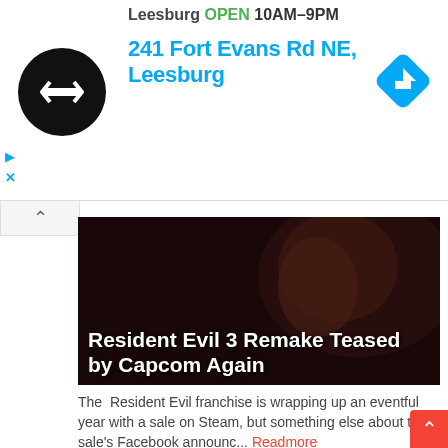[Figure (infographic): Advertisement banner showing a map/navigation app listing for a store in Leesburg. Shows store logo (black circle with double arrow symbol), text 'Leesburg OPEN 10AM-9PM', address '241 Fort Evans Rd NE, Leesburg', and a blue diamond navigation arrow icon on the right. Play and close controls on the left.]
Resident Evil 3 Remake Teased by Capcom Again
The Resident Evil franchise is wrapping up an eventful year with a sale on Steam, but something else about the sale's Facebook announc... Readmore
[Figure (photo): Dark sci-fi image with glowing fan-like circular structure, blue tones, futuristic mechanical design. Badge with number 2 in red square top-left.]
Destiny 2: Bungie Investigating Frame Rate Issues in New Raid on Console